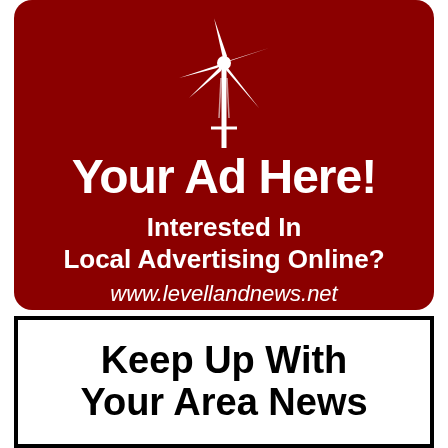[Figure (illustration): White windmill/cross illustration on dark red background]
Your Ad Here!
Interested In Local Advertising Online?
www.levellandnews.net
Keep Up With Your Area News